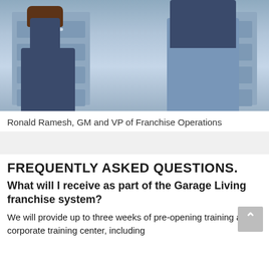[Figure (photo): Two people standing in front of blue storage drawer units. One person on the left wears a dark blazer and jeans, leaning on the drawers. The other person on the right wears jeans and has hands in pockets, standing in front of a similar unit.]
Ronald Ramesh, GM and VP of Franchise Operations
FREQUENTLY ASKED QUESTIONS.
What will I receive as part of the Garage Living franchise system?
We will provide up to three weeks of pre-opening training at our corporate training center, including